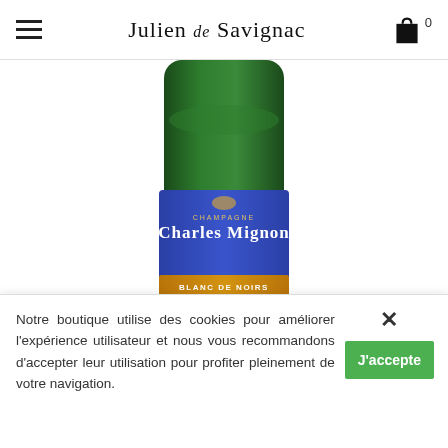Julien de Savignac
[Figure (photo): Green champagne bottle with blue label reading 'Charles Mignon Blanc de Noirs Brut', partially cropped showing bottom portion of bottle]
Champagne Charles Mignon Blanc de Noirs
Champagne Blanc De...
Notre boutique utilise des cookies pour améliorer l'expérience utilisateur et nous vous recommandons d'accepter leur utilisation pour profiter pleinement de votre navigation.